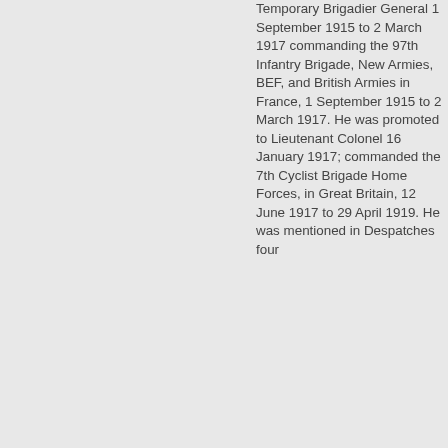Temporary Brigadier General 1 September 1915 to 2 March 1917 commanding the 97th Infantry Brigade, New Armies, BEF, and British Armies in France, 1 September 1915 to 2 March 1917. He was promoted to Lieutenant Colonel 16 January 1917; commanded the 7th Cyclist Brigade Home Forces, in Great Britain, 12 June 1917 to 29 April 1919. He was mentioned in Despatches four